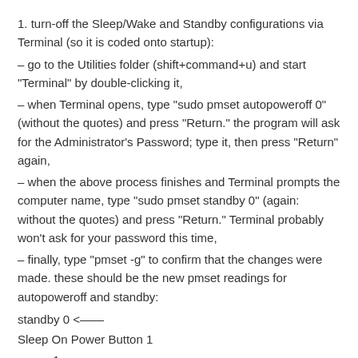1. turn-off the Sleep/Wake and Standby configurations via Terminal (so it is coded onto startup):
– go to the Utilities folder (shift+command+u) and start “Terminal” by double-clicking it,
– when Terminal opens, type “sudo pmset autopoweroff 0” (without the quotes) and press “Return.” the program will ask for the Administrator’s Password; type it, then press “Return” again,
– when the above process finishes and Terminal prompts the computer name, type “sudo pmset standby 0” (again: without the quotes) and press “Return.” Terminal probably won’t ask for your password this time,
– finally, type “pmset -g” to confirm that the changes were made. these should be the new pmset readings for autopoweroff and standby:
standby 0 <——
Sleep On Power Button 1
womp 1
autorestart 0